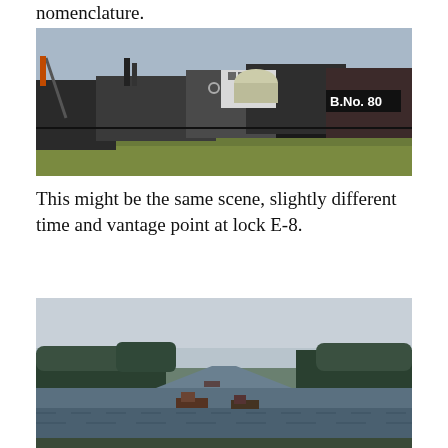nomenclature.
[Figure (photo): Color photograph of barges and industrial watercraft moored at a lock, with 'B.No. 80' visible on a vessel. Grass and open sky visible. Crowded dock scene with multiple vessels side by side.]
This might be the same scene, slightly different time and vantage point at lock E-8.
[Figure (photo): Color photograph of a wide river scene with wooded banks on both sides, overcast sky, and two vessels visible on the water in the distance. Calm river landscape.]